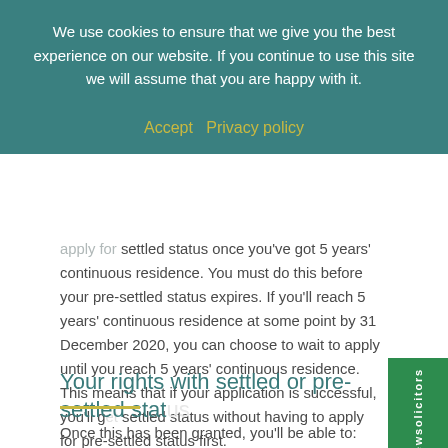We use cookies to ensure that we give you the best experience on our website. If you continue to use this site we will assume that you are happy with it.
Accept  Privacy policy
settled status once you've got 5 years' continuous residence. You must do this before your pre-settled status expires. If you'll reach 5 years' continuous residence at some point by 31 December 2020, you can choose to wait to apply until you reach 5 years' continuous residence. This means that if your application is successful, you'll get settled status without having to apply for pre-settled status first.
Your rights with settled or pre-settled status
Once this has been granted, you'll be able to: